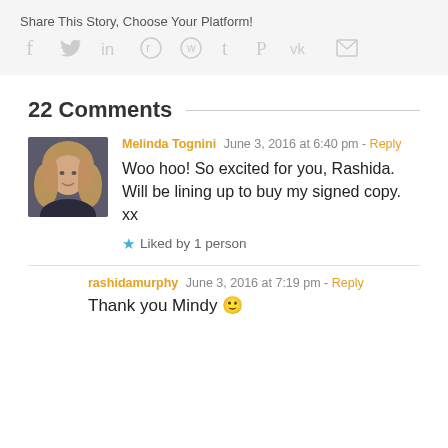Share This Story, Choose Your Platform!
[Figure (infographic): Social media sharing icons: Facebook, Twitter, LinkedIn, Reddit, WhatsApp, Tumblr, Pinterest, VK, Email]
22 Comments
[Figure (photo): Avatar photo of Melinda Tognini, a woman with long blonde hair]
Melinda Tognini  June 3, 2016 at 6:40 pm - Reply
Woo hoo! So excited for you, Rashida. Will be lining up to buy my signed copy. xx
Liked by 1 person
rashidamurphy  June 3, 2016 at 7:19 pm - Reply
Thank you Mindy 🙂